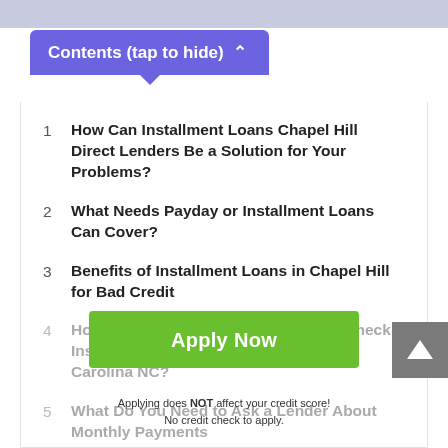Contents (tap to hide) ^
1  How Can Installment Loans Chapel Hill Direct Lenders Be a Solution for Your Problems?
2  What Needs Payday or Installment Loans Can Cover?
3  Benefits of Installment Loans in Chapel Hill for Bad Credit
4  How Secure and Legal Are No Credit Check Installment Loans Chapel Hill in North Carolina NC?
5  What Do You Need to Ask a Lender About Monthly Payments?
Apply Now
Applying does NOT affect your credit score!
No credit check to apply.